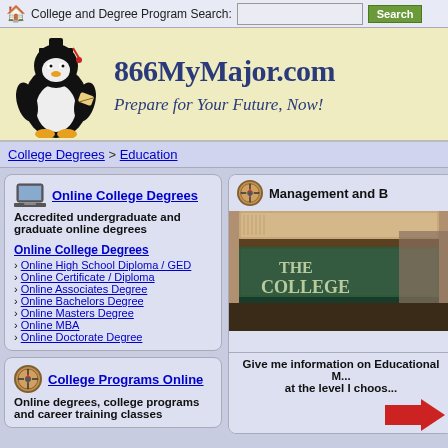College and Degree Program Search: [search box] [Search button]
[Figure (illustration): 866MyMajor.com banner with penguin mascot wearing graduation cap holding diploma, tagline: Prepare for Your Future, Now!]
College Degrees > Education
Online College Degrees
Accredited undergraduate and graduate online degrees
Online College Degrees
Online High School Diploma / GED
Online Certificate / Diploma
Online Associates Degree
Online Bachelors Degree
Online Masters Degree
Online MBA
Online Doctorate Degree
College Programs Online
Online degrees, college programs and career training classes
[Figure (illustration): Management and B... section header with compass icon and photo of stacked college books]
Give me information on Educational M... at the level I choos...